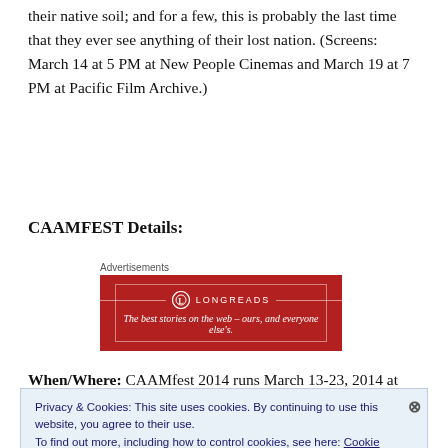their native soil; and for a few, this is probably the last time that they ever see anything of their lost nation. (Screens: March 14 at 5 PM at New People Cinemas and March 19 at 7 PM at Pacific Film Archive.)
CAAMFEST Details:
[Figure (other): Longreads advertisement banner: red background with logo and tagline 'The best stories on the web – ours, and everyone else's.']
When/Where: CAAMfest 2014 runs March 13-23, 2014 at
Privacy & Cookies: This site uses cookies. By continuing to use this website, you agree to their use. To find out more, including how to control cookies, see here: Cookie Policy